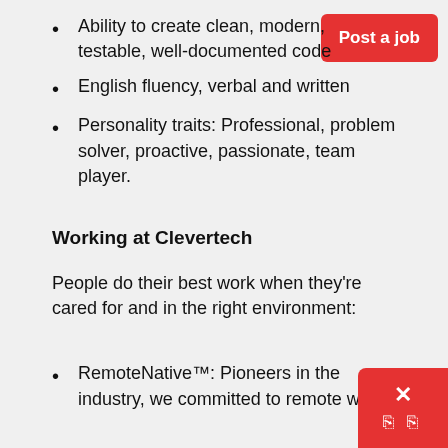Ability to create clean, modern, testable, well-documented code
English fluency, verbal and written
Personality traits: Professional, problem solver, proactive, passionate, team player.
Working at Clevertech
People do their best work when they're cared for and in the right environment:
RemoteNative™: Pioneers in the industry, we committed to remote work.